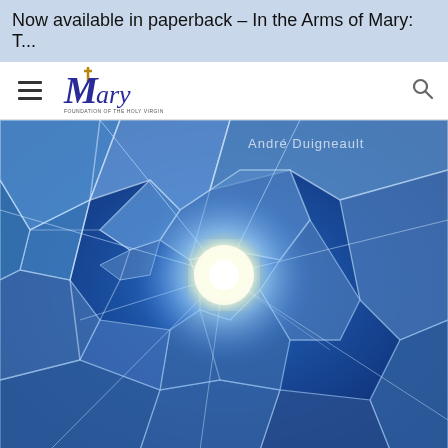Now available in paperback – In the Arms of Mary: T...
[Figure (logo): Mary Foundation logo with stylized M and cross, calligraphic text]
[Figure (photo): Shattered blue glass with bright light emanating from center, author name Andre Duigneault visible at top]